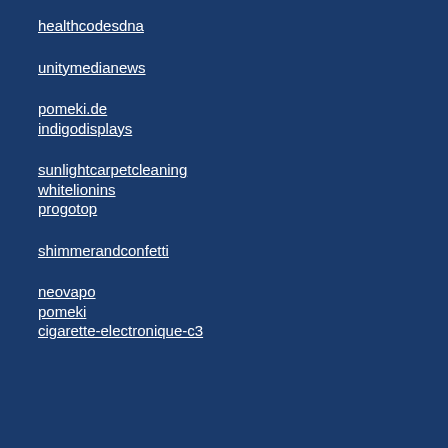healthcodesdna
unitymedianews
pomeki.de
indigodisplays
sunlightcarpetcleaning
whitelionins
progotop
shimmerandconfetti
neovapo
pomeki
cigarette-electronique-c3